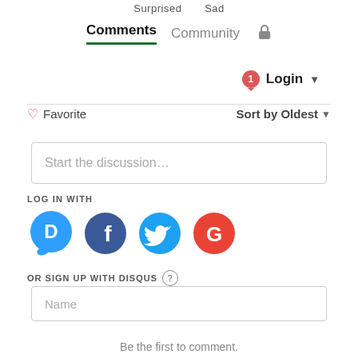Surprised    Sad
Comments   Community   🔒
1  Login ▾
♡ Favorite    Sort by Oldest ▾
Start the discussion…
LOG IN WITH
[Figure (illustration): Social login icons: Disqus (blue speech bubble with D), Facebook (dark blue circle with f), Twitter (light blue circle with bird), Google (red circle with G)]
OR SIGN UP WITH DISQUS ?
Name
Be the first to comment.